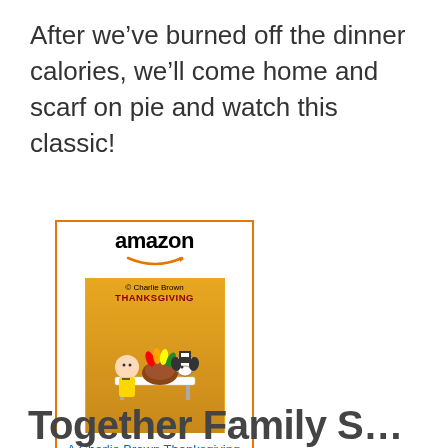After we’ve burned off the dinner calories, we’ll come home and scarf on pie and watch this classic!
[Figure (other): Amazon product widget showing 'A Charlie Brown Thanksgiving' with Amazon logo, book cover image, product title link, and 'Shop now' button]
Together Family Suggestions (partial, cut off)